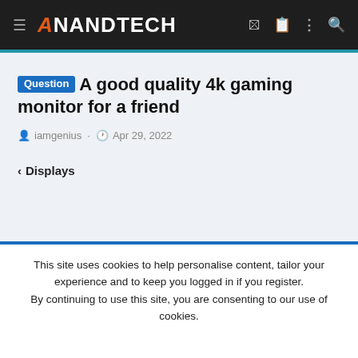AnandTech
Question A good quality 4k gaming monitor for a friend
iamgenius · Apr 29, 2022
< Displays
This site uses cookies to help personalise content, tailor your experience and to keep you logged in if you register. By continuing to use this site, you are consenting to our use of cookies.